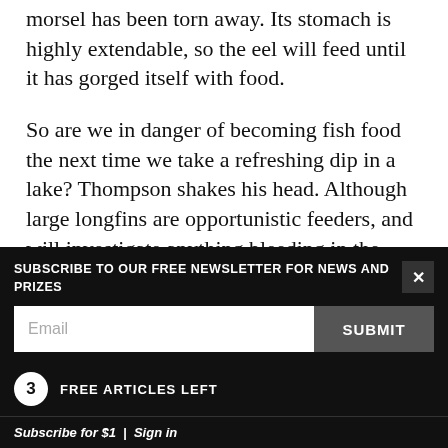morsel has been torn away. Its stomach is highly extendable, so the eel will feed until it has gorged itself with food.
So are we in danger of becoming fish food the next time we take a refreshing dip in a lake? Thompson shakes his head. Although large longfins are opportunistic feeders, and will investigate anything bleeding in the water, they generally live on a diet of live fish, freshwater crayfish and the occasional duckling.
SUBSCRIBE TO OUR FREE NEWSLETTER FOR NEWS AND PRIZES
Email
SUBMIT
3 FREE ARTICLES LEFT
Subscribe for $1 | Sign in